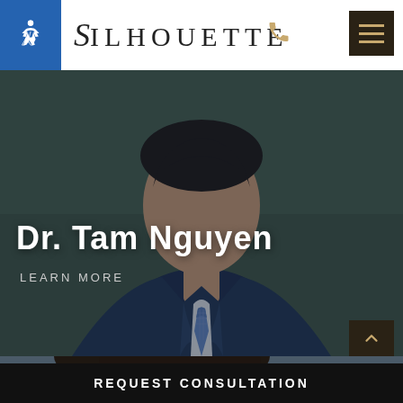[Figure (logo): Silhouette medical practice logo with stylized S in script and ILHOUETTE in spaced caps]
[Figure (photo): Portrait photo of Dr. Tam Nguyen, an Asian man in a dark suit with blue checked tie, smiling, with green trees in background. Dark blue overlay on image.]
Dr. Tam Nguyen
LEARN MORE
[Figure (photo): Partial photo strip showing a woman's dark hair at top of frame]
REQUEST CONSULTATION